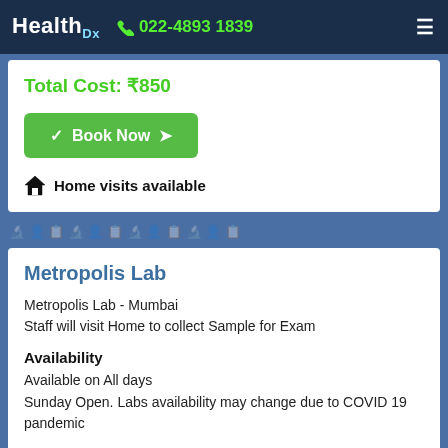HealthDx  022-4893 1839
Total Cost: ₹850
✓ Book Now ➤
🏠 Home visits available
Metropolis Lab
Metropolis Lab - Mumbai
Staff will visit Home to collect Sample for Exam
Availability
Available on All days
Sunday Open. Labs availability may change due to COVID 19 pandemic
Tests